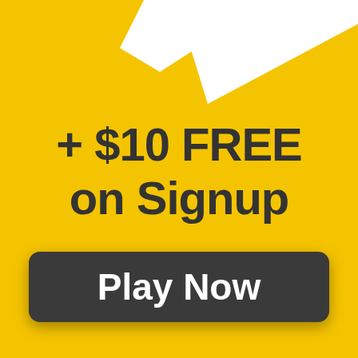[Figure (illustration): Yellow background with two white angular swoosh/lightning bolt shapes in the upper right area of the image]
+ $10 FREE on Signup
Play Now